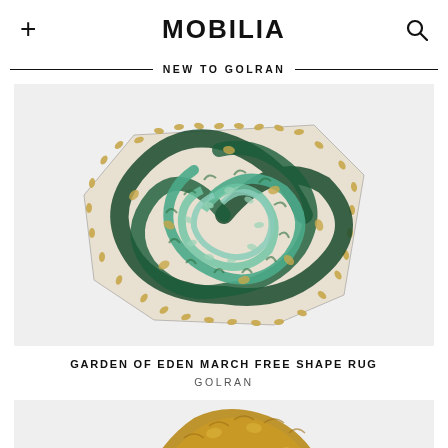+ MOBILIA 🔍
NEW TO GOLRAN
[Figure (photo): Garden of Eden March Free Shape Rug by Golran — a free-form shaped rug with intricate woven pattern in shades of dark green, teal, mint, and golden/tan tones arranged in swirling organic shapes]
GARDEN OF EDEN MARCH FREE SHAPE RUG
GOLRAN
[Figure (photo): Second rug partially visible — golden/mustard yellow free-form shaped rug with organic woven texture, bottom portion visible]